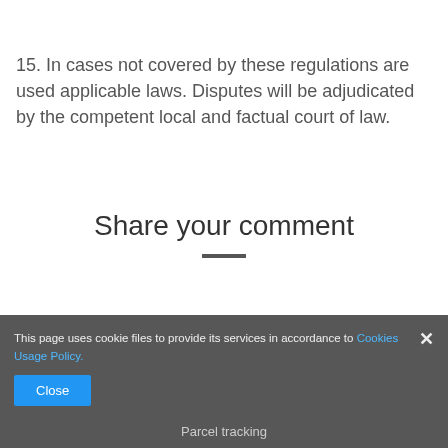15. In cases not covered by these regulations are used applicable laws. Disputes will be adjudicated by the competent local and factual court of law.
Share your comment
[Figure (screenshot): Cookie consent banner overlay with text 'This page uses cookie files to provide its services in accordance to Cookies Usage Policy.' and a blue 'Close' button, plus a close X icon. Partially overlaps a greyed-out page background showing 'Parcel tracking' footer.]